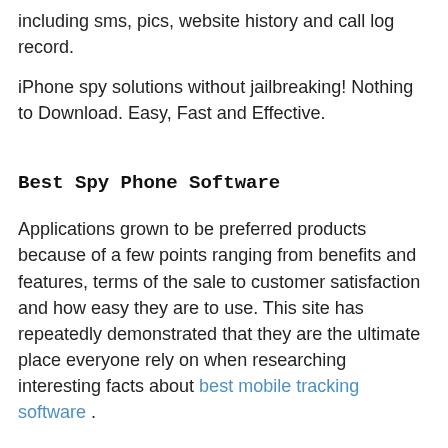including sms, pics, website history and call log record.
iPhone spy solutions without jailbreaking! Nothing to Download. Easy, Fast and Effective.
Best Spy Phone Software
Applications grown to be preferred products because of a few points ranging from benefits and features, terms of the sale to customer satisfaction and how easy they are to use. This site has repeatedly demonstrated that they are the ultimate place everyone rely on when researching interesting facts about best mobile tracking software .
Cell Phone Monitoring and Tracking Tool
In the event that you're living in a territory that does not prohibit use, and you happen to be in the market for even more security, which also boasts discreet features, we'd highly recommend